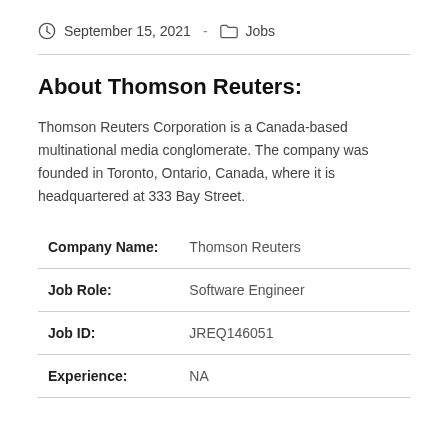September 15, 2021  -  Jobs
About Thomson Reuters:
Thomson Reuters Corporation is a Canada-based multinational media conglomerate. The company was founded in Toronto, Ontario, Canada, where it is headquartered at 333 Bay Street.
| Field | Value |
| --- | --- |
| Company Name: | Thomson Reuters |
| Job Role: | Software Engineer |
| Job ID: | JREQ146051 |
| Experience: | NA |